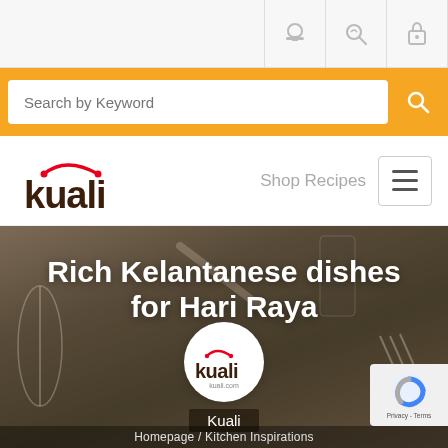[icon bar with megaphone, search, lock icons]
Search by Keyword
[Figure (logo): Kuali logo with red arc and dark brown text]
Shop Recipes
Rich Kelantanese dishes for Hari Raya
[Figure (logo): Kuali circular logo badge with kuali.com text]
Kuali
Homepage / Kitchen Inspirations